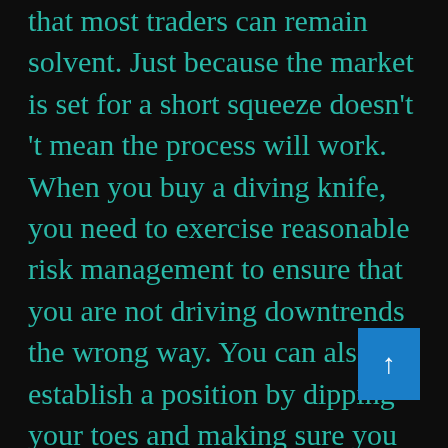that most traders can remain solvent. Just because the market is set for a short squeeze doesn't 't mean the process will work. When you buy a diving knife, you need to exercise reasonable risk management to ensure that you are not driving downtrends the wrong way. You can also establish a position by dipping your toes and making sure you can hold the position if it continues to trade sideways.

Solemnly declare: All the information on this website is for reference only and not serve as the basis for transactions and services. If there is any deviation in the use